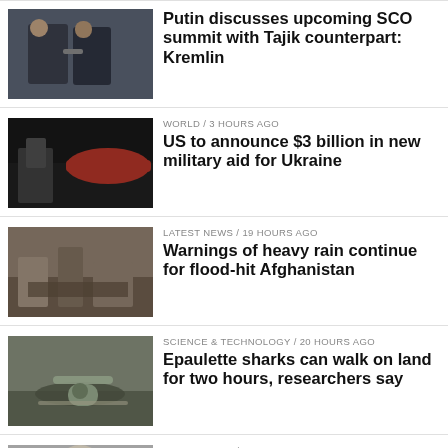[Figure (photo): Two men in suits shaking hands or standing together]
Putin discusses upcoming SCO summit with Tajik counterpart: Kremlin
[Figure (photo): Helicopter or aircraft on a tarmac, military vehicles]
WORLD / 3 hours ago
US to announce $3 billion in new military aid for Ukraine
[Figure (photo): Rubble and destruction, flood damage in Afghanistan]
LATEST NEWS / 19 hours ago
Warnings of heavy rain continue for flood-hit Afghanistan
[Figure (photo): Close-up of an epaulette shark walking on land]
SCIENCE & TECHNOLOGY / 20 hours ago
Epaulette sharks can walk on land for two hours, researchers say
[Figure (photo): Elderly man with white hair and glasses, UN official]
LATEST NEWS / 20 hours ago
Afghanistan economy must be supported: UN aid chief